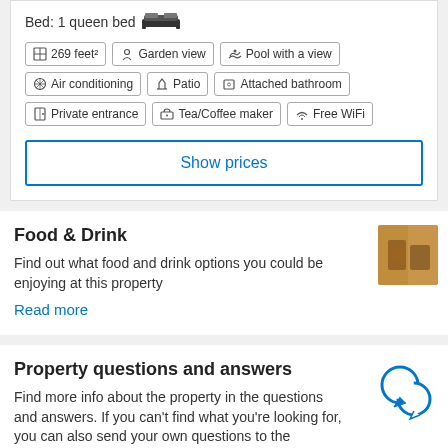Bed: 1 queen bed
269 feet²
Garden view
Pool with a view
Air conditioning
Patio
Attached bathroom
Private entrance
Tea/Coffee maker
Free WiFi
Show prices
Food & Drink
Find out what food and drink options you could be enjoying at this property
Read more
[Figure (photo): Food and drink photo thumbnail]
Property questions and answers
Find more info about the property in the questions and answers. If you can't find what you're looking for, you can also send your own questions to the property
[Figure (illustration): Speech bubbles icon for Q&A]